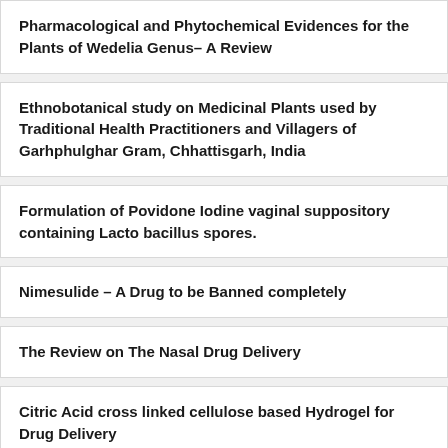Pharmacological and Phytochemical Evidences for the Plants of Wedelia Genus– A Review
Ethnobotanical study on Medicinal Plants used by Traditional Health Practitioners and Villagers of Garhphulghar Gram, Chhattisgarh, India
Formulation of Povidone Iodine vaginal suppository containing Lacto bacillus spores.
Nimesulide – A Drug to be Banned completely
The Review on The Nasal Drug Delivery
Citric Acid cross linked cellulose based Hydrogel for Drug Delivery
The Survey of Knowledge about OTC Drugs among Pharmacy Professionals and Non-Pharmacists